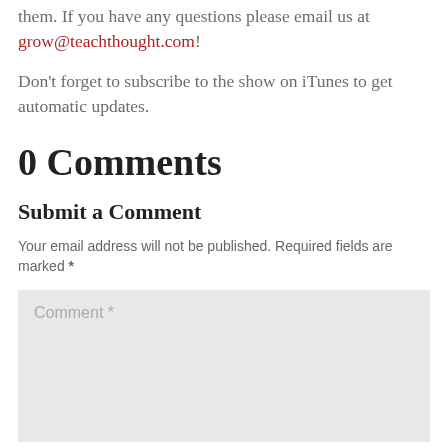them. If you have any questions please email us at grow@teachthought.com!
Don't forget to subscribe to the show on iTunes to get automatic updates.
0 Comments
Submit a Comment
Your email address will not be published. Required fields are marked *
Comment *